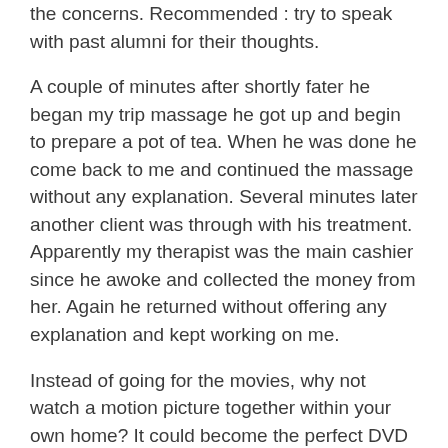the concerns. Recommended : try to speak with past alumni for their thoughts.
A couple of minutes after shortly fater he began my trip massage he got up and begin to prepare a pot of tea. When he was done he come back to me and continued the massage without any explanation. Several minutes later another client was through with his treatment. Apparently my therapist was the main cashier since he awoke and collected the money from her. Again he returned without offering any explanation and kept working on me.
Instead of going for the movies, why not watch a motion picture together within your own home? It could become the perfect DVD or tape, a holiday in the rental store, pay-per-view, or At the moment. Lay out some crackers and cheese, fruit, or another snack that includes to the romance. Buy a romantic drive-in.action